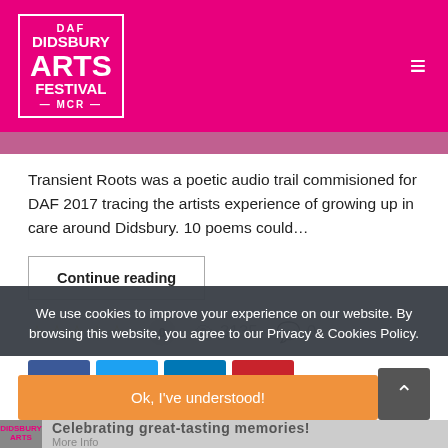[Figure (logo): Didsbury Arts Festival DAF MCR logo in white on magenta background with hamburger menu icon]
Transient Roots was a poetic audio trail commisioned for DAF 2017 tracing the artists experience of growing up in care around Didsbury. 10 poems could…
Continue reading
☆ ☆ ☆ ☆ ☆  0   👁 3135   💬 0
[Figure (infographic): Social share buttons: Facebook (blue), Twitter (light blue), LinkedIn (dark blue), Pinterest (red)]
We use cookies to improve your experience on our website. By browsing this website, you agree to our Privacy & Cookies Policy.
Ok, I've understood!
Celebrating great-tasting memories!
More Info